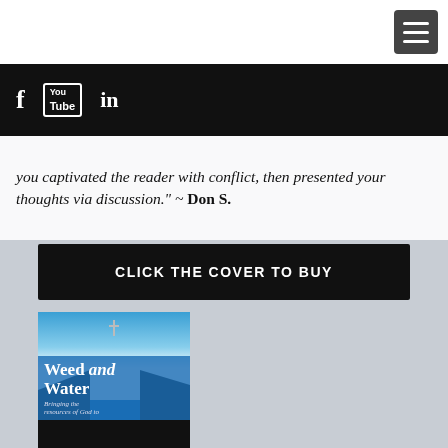[Figure (screenshot): Hamburger menu icon (three horizontal bars) in a dark grey rounded square, top right corner]
[Figure (screenshot): Black social media bar with Facebook (f), YouTube (You/Tube box icon), and LinkedIn (in) icons in white]
you captivated the reader with conflict, then presented your thoughts via discussion." ~ Don S.
CLICK THE COVER TO BUY
[Figure (photo): Book cover for 'Weed and Water' — blue sky with bright light burst, silhouette of person jumping across a gap with a cross above, rocky cliffs below; text reads 'Weed and Water' and 'Bringing the resources of God to']